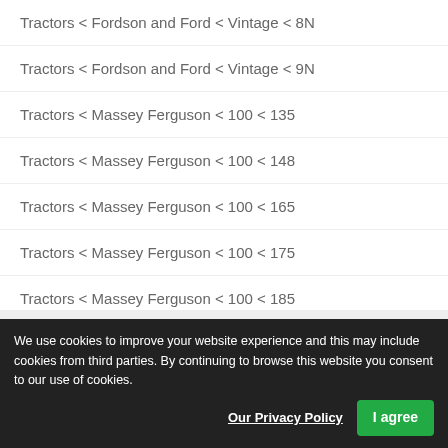Tractors < Fordson and Ford < Vintage < 8N
Tractors < Fordson and Ford < Vintage < 9N
Tractors < Massey Ferguson < 100 < 135
Tractors < Massey Ferguson < 100 < 148
Tractors < Massey Ferguson < 100 < 165
Tractors < Massey Ferguson < 100 < 175
Tractors < Massey Ferguson < 100 < 185
[Figure (logo): Circular logo with red arc and text 'for Most Tractors & Farm M...' and grey letters 'OLD' in the center]
We use cookies to improve your website experience and this may include cookies from third parties. By continuing to browse this website you consent to our use of cookies.
Our Privacy Policy   I agree